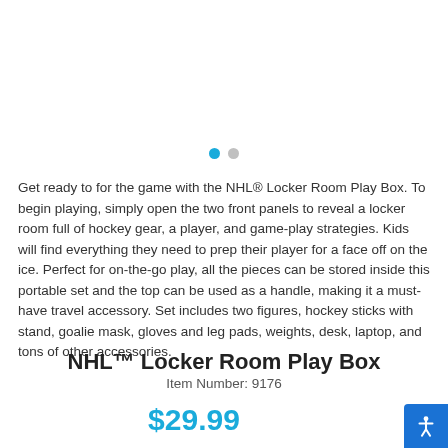[Figure (other): Carousel dot indicators: one blue active dot and one grey inactive dot]
Get ready to for the game with the NHL® Locker Room Play Box. To begin playing, simply open the two front panels to reveal a locker room full of hockey gear, a player, and game-play strategies. Kids will find everything they need to prep their player for a face off on the ice. Perfect for on-the-go play, all the pieces can be stored inside this portable set and the top can be used as a handle, making it a must-have travel accessory. Set includes two figures, hockey sticks with stand, goalie mask, gloves and leg pads, weights, desk, laptop, and tons of other accessories.
NHL™ Locker Room Play Box
Item Number: 9176
$29.99